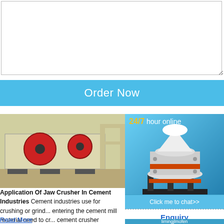[textarea/input field]
Order Now
[Figure (photo): Mobile jaw crusher machine on a trailer with red flywheel, industrial equipment on sandy ground]
[Figure (photo): Cone crusher machine illustration with 24/7 hour online badge and Click me to chat>> button]
Application Of Jaw Crusher In Cement Industries Cement industries use for crushing or grin... entering the cement mill material need to cr... cement crusher machines but most of the c... industry still use jaw crusher for fine crushi... which the grain size is not up to the grindin... resulting in online chat cement crusher pla...
24/7 hour online
Click me to chat>>
Enquiry
limingjlmofen
Read More